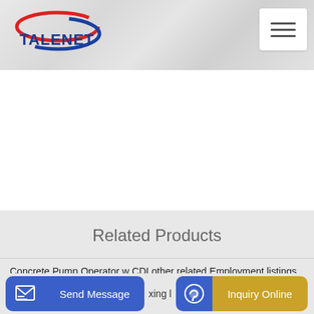[Figure (logo): Talenet logo with red and blue swoosh design and bold blue TALENET text]
Talenet website header with hamburger menu button
Related Products
Concrete Pump Operator w CDLother related Employment listings
good quality hzs40 concrete batching plant on sale
xing l
Send Message | Inquiry Online